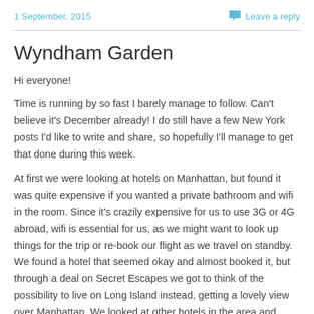1 September, 2015
Leave a reply
Wyndham Garden
Hi everyone!
Time is running by so fast I barely manage to follow. Can't believe it's December already! I do still have a few New York posts I'd like to write and share, so hopefully I'll manage to get that done during this week.
At first we were looking at hotels on Manhattan, but found it was quite expensive if you wanted a private bathroom and wifi in the room. Since it's crazily expensive for us to use 3G or 4G abroad, wifi is essential for us, as we might want to look up things for the trip or re-book our flight as we travel on standby. We found a hotel that seemed okay and almost booked it, but through a deal on Secret Escapes we got to think of the possibility to live on Long Island instead, getting a lovely view over Manhattan. We looked at other hotels in the area and found Wyndham Garden. The reviews were great, and it was said to be really easy to get to Manhattan with the metro. For the same price we were about to spend on quite shabby hotel, we got a four star hotel, close to